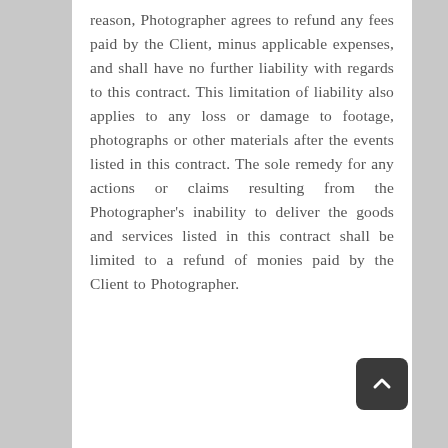reason, Photographer agrees to refund any fees paid by the Client, minus applicable expenses, and shall have no further liability with regards to this contract. This limitation of liability also applies to any loss or damage to footage, photographs or other materials after the events listed in this contract. The sole remedy for any actions or claims resulting from the Photographer's inability to deliver the goods and services listed in this contract shall be limited to a refund of monies paid by the Client to Photographer.